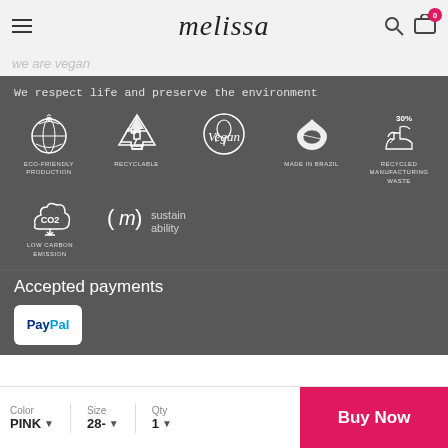melissa
we are vegan
We respect life and preserve the environment
[Figure (infographic): Row of 5 sustainability icons: ECO-FRIENDLY PRODUCTION (globe with heart), RECYCLABLE (recycle triangle), Vegan (flower in circle), MADE IN BRAZIL (heart with diamond), RECYCLED MANUFACTURING WASTE (shoe with 30%)]
[Figure (infographic): Row of 2 icons: LOW CARBON EMISSION (CO2 cloud), (m) sustain ability logo]
Accepted payments
[Figure (logo): PayPal logo in white rounded rectangle box]
Color PINK | Size 28- | Qty 1 | Buy Now